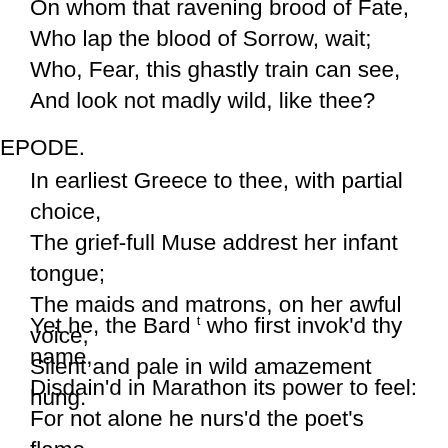On whom that ravening brood of Fate,
Who lap the blood of Sorrow, wait;
Who, Fear, this ghastly train can see,
And look not madly wild, like thee?
EPODE.
In earliest Greece to thee, with partial choice,
The grief-full Muse addrest her infant tongue;
The maids and matrons, on her awful voice,
Silent and pale in wild amazement hung.
Yet he, the Bard t who first invok'd thy name,
Disdain'd in Marathon its power to feel:
For not alone he nurs'd the poet's flame,
But reach'd from Virtue's hand